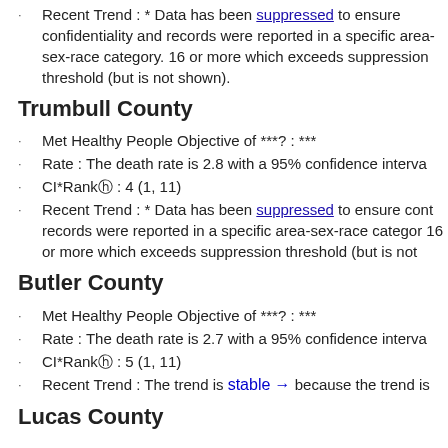Recent Trend : * Data has been suppressed to ensure confidentiality and stability of rate estimates. Fewer than 16 records were reported in a specific area-sex-race category. If an average count of 3 is shown, the total number of cases for the time period is 16 or more which exceeds suppression threshold (but is not shown).
Trumbull County
Met Healthy People Objective of ***?: ***
Rate : The death rate is 2.8 with a 95% confidence interval
CI*Rankⓗ : 4 (1, 11)
Recent Trend : * Data has been suppressed to ensure confidentiality and stability of rate estimates. Fewer than 16 records were reported in a specific area-sex-race category. If an average count of 3 is shown, the total number of cases for the time period is 16 or more which exceeds suppression threshold (but is not shown).
Butler County
Met Healthy People Objective of ***?: ***
Rate : The death rate is 2.7 with a 95% confidence interval
CI*Rankⓗ : 5 (1, 11)
Recent Trend : The trend is stable → because the trend is
Lucas County